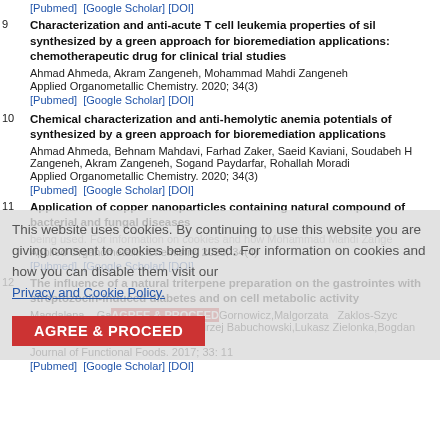[Pubmed] [Google Scholar] [DOI]
9. Characterization and anti-acute T cell leukemia properties of sil synthesized by a green approach for bioremediation applications: chemotherapeutic drug for clinical trial studies. Ahmad Ahmeda, Akram Zangeneh, Mohammad Mahdi Zangeneh. Applied Organometallic Chemistry. 2020; 34(3). [Pubmed] [Google Scholar] [DOI]
10. Chemical characterization and anti-hemolytic anemia potentials of synthesized by a green approach for bioremediation applications. Ahmad Ahmeda, Behnam Mahdavi, Farhad Zaker, Saeid Kaviani, Soudabeh H Zangeneh, Akram Zangeneh, Sogand Paydarfar, Rohallah Moradi. Applied Organometallic Chemistry. 2020; 34(3). [Pubmed] [Google Scholar] [DOI]
11. Application of copper nanoparticles containing natural compound of bacterial and fungal diseases. Applied Organometallic Chemistry. 2020; 34(4). [Pubmed] [Google Scholar] [DOI]
12. The influence of a natural triterpene preparation on the gastrointestinal with streptozocin-induced diabetes and on cell metabolic activity. Magdalena Gaj, Gornowicz, Malgorzata Zaklos-Szyc, Michalczuk, Maria Koziolkiewicz, Andrzej Babuchowski, Lukasz Zielonka, Bogdan Lewo. Journal of Functional Foods. 2017; 33: 11. [Pubmed] [Google Scholar] [DOI]
This website uses cookies. By continuing to use this website you are giving consent to cookies being used. For information on cookies and how you can disable them visit our Privacy and Cookie Policy.